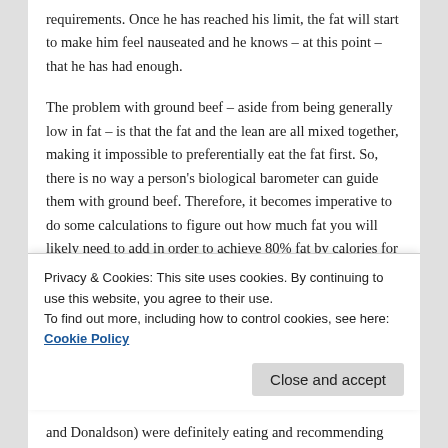requirements. Once he has reached his limit, the fat will start to make him feel nauseated and he knows – at this point – that he has had enough.
The problem with ground beef – aside from being generally low in fat – is that the fat and the lean are all mixed together, making it impossible to preferentially eat the fat first. So, there is no way a person's biological barometer can guide them with ground beef. Therefore, it becomes imperative to do some calculations to figure out how much fat you will likely need to add in order to achieve 80% fat by calories for a meal. If you are lucky enough to find 70/30 ground beef which is 60% fat by calories, you would need to add 1 oz of butter per 3 oz of
Privacy & Cookies: This site uses cookies. By continuing to use this website, you agree to their use.
To find out more, including how to control cookies, see here: Cookie Policy
and Donaldson) were definitely eating and recommending